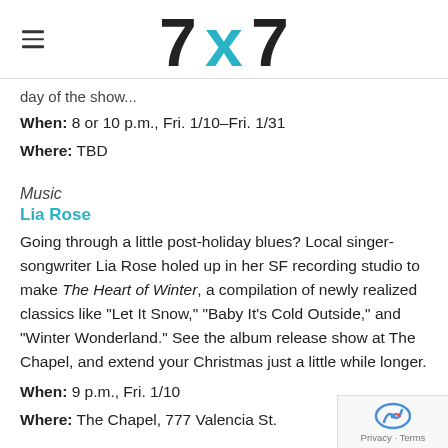7x7
day of the show...
When: 8 or 10 p.m., Fri. 1/10–Fri. 1/31
Where: TBD
Music
Lia Rose
Going through a little post-holiday blues? Local singer-songwriter Lia Rose holed up in her SF recording studio to make The Heart of Winter, a compilation of newly realized classics like "Let It Snow," "Baby It's Cold Outside," and "Winter Wonderland." See the album release show at The Chapel, and extend your Christmas just a little while longer.
When: 9 p.m., Fri. 1/10
Where: The Chapel, 777 Valencia St.